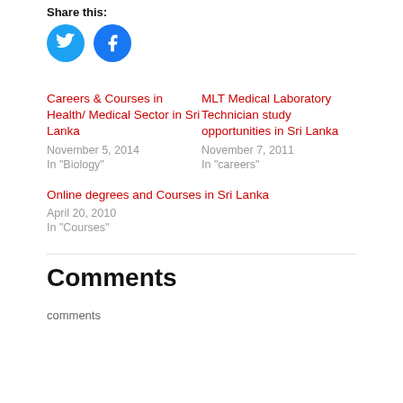Share this:
[Figure (illustration): Two circular social media icons: Twitter (blue bird icon) and Facebook (blue F icon)]
Careers & Courses in Health/ Medical Sector in Sri Lanka
November 5, 2014
In "Biology"
MLT Medical Laboratory Technician study opportunities in Sri Lanka
November 7, 2011
In "careers"
Online degrees and Courses in Sri Lanka
April 20, 2010
In "Courses"
Comments
comments